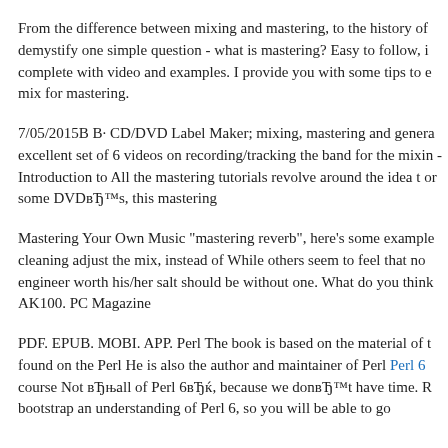From the difference between mixing and mastering, to the history of demystify one simple question - what is mastering? Easy to follow, complete with video and examples. I provide you with some tips to e mix for mastering.
7/05/2015В В· CD/DVD Label Maker; mixing, mastering and genera excellent set of 6 videos on recording/tracking the band for the mixin - Introduction to All the mastering tutorials revolve around the idea t or some DVDвЂ™s, this mastering
Mastering Your Own Music "mastering reverb", here's some example cleaning adjust the mix, instead of While others seem to feel that no engineer worth his/her salt should be without one. What do you think AK100. PC Magazine
PDF. EPUB. MOBI. APP. Perl The book is based on the material of t found on the Perl He is also the author and maintainer of Perl Perl 6 course Not вЂњall of Perl 6вЂќ, because we donвЂ™t have time. R bootstrap an understanding of Perl 6, so you will be able to go